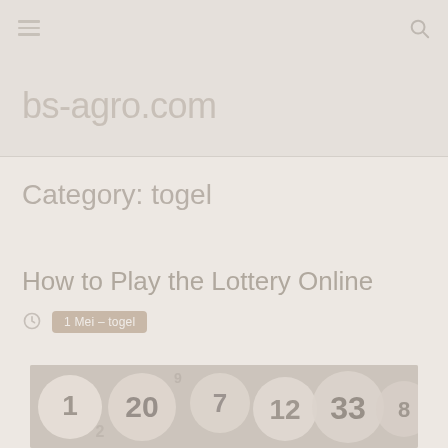bs-agro.com
Category: togel
How to Play the Lottery Online
1 Mei – togel
[Figure (photo): Lottery balls with numbers on them, showing various numbered balls in a pile]